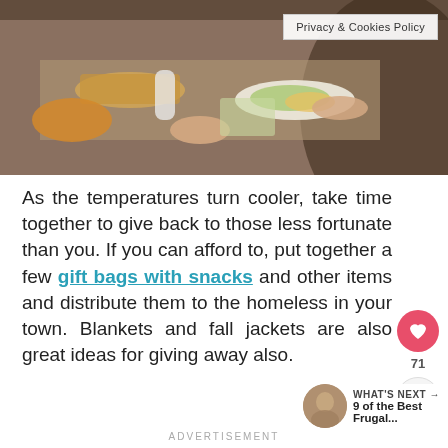[Figure (photo): A food service scene showing hands passing a plate of food, with various dishes visible on a counter. Appears to be a soup kitchen or cafeteria setting.]
Privacy & Cookies Policy
As the temperatures turn cooler, take time together to give back to those less fortunate than you. If you can afford to, put together a few gift bags with snacks and other items and distribute them to the homeless in your town. Blankets and fall jackets are also great ideas for giving away also.
WHAT'S NEXT → 9 of the Best Frugal...
ADVERTISEMENT